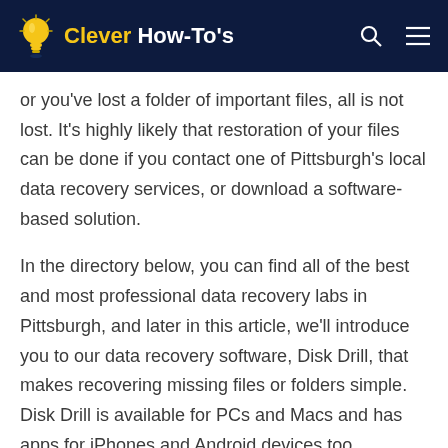Clever How-To's
or you've lost a folder of important files, all is not lost. It's highly likely that restoration of your files can be done if you contact one of Pittsburgh's local data recovery services, or download a software-based solution.
In the directory below, you can find all of the best and most professional data recovery labs in Pittsburgh, and later in this article, we'll introduce you to our data recovery software, Disk Drill, that makes recovering missing files or folders simple. Disk Drill is available for PCs and Macs and has apps for iPhones and Android devices too.
Contact information for data recovery